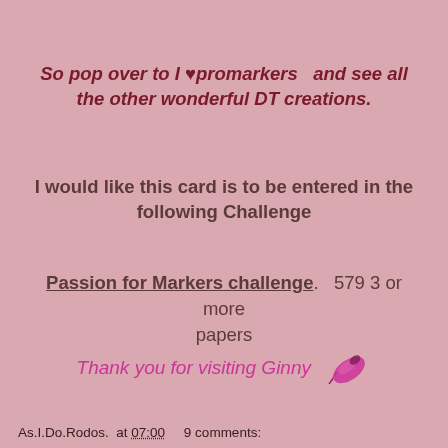So pop over to I ♥promarkers  and see all the other wonderful DT creations.
I would like this card is to be entered in the following Challenge
Passion for Markers challenge.   579 3 or more papers
Thank you for visiting Ginny
As.I.Do.Rodos.  at 07:00     9 comments: